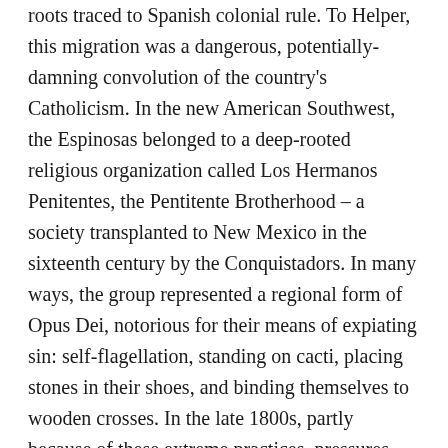roots traced to Spanish colonial rule. To Helper, this migration was a dangerous, potentially-damning convolution of the country's Catholicism. In the new American Southwest, the Espinosas belonged to a deep-rooted religious organization called Los Hermanos Penitentes, the Pentitente Brotherhood – a society transplanted to New Mexico in the sixteenth century by the Conquistadors. In many ways, the group represented a regional form of Opus Dei, notorious for their means of expiating sin: self-flagellation, standing on cacti, placing stones in their shoes, and binding themselves to wooden crosses. In the late 1800s, partly because of these extreme practices, pressures from the church and state government were brought against the society, ultimately banning it. Today the abandoned meeting places of the Pentitentes, moradas, can still be seen around New Mexico and southern Colorado. Chapters of the brotherhood still exist and meet